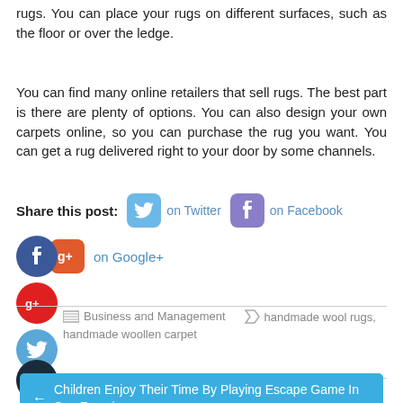rugs. You can place your rugs on different surfaces, such as the floor or over the ledge.
You can find many online retailers that sell rugs. The best part is there are plenty of options. You can also design your own carpets online, so you can purchase the rug you want. You can get a rug delivered right to your door by some channels.
Share this post: on Twitter on Facebook on Google+
Business and Management  handmade wool rugs, handmade woollen carpet
← Children Enjoy Their Time By Playing Escape Game In San Francisco